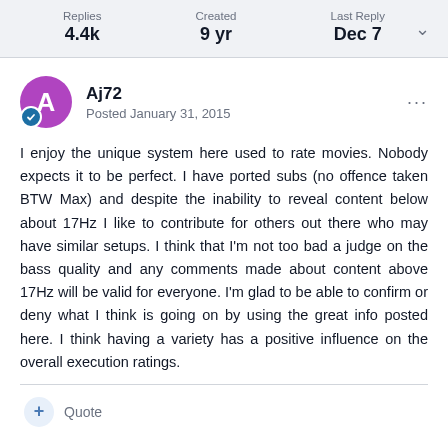Replies 4.4k | Created 9 yr | Last Reply Dec 7
Aj72
Posted January 31, 2015
I enjoy the unique system here used to rate movies. Nobody expects it to be perfect. I have ported subs (no offence taken BTW Max) and despite the inability to reveal content below about 17Hz I like to contribute for others out there who may have similar setups. I think that I'm not too bad a judge on the bass quality and any comments made about content above 17Hz will be valid for everyone. I'm glad to be able to confirm or deny what I think is going on by using the great info posted here. I think having a variety has a positive influence on the overall execution ratings.
Quote